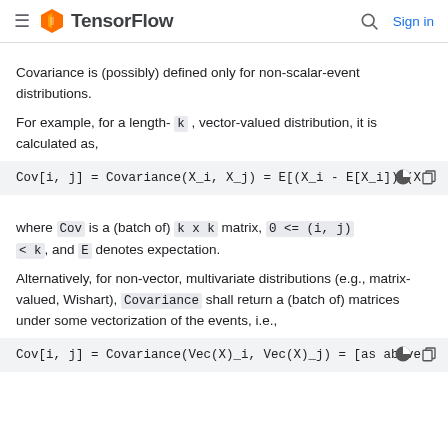TensorFlow — Sign in
Covariance is (possibly) defined only for non-scalar-event distributions.
For example, for a length- k , vector-valued distribution, it is calculated as,
where Cov is a (batch of) k x k matrix, 0 <= (i, j) < k , and E denotes expectation.
Alternatively, for non-vector, multivariate distributions (e.g., matrix-valued, Wishart), Covariance shall return a (batch of) matrices under some vectorization of the events, i.e.,